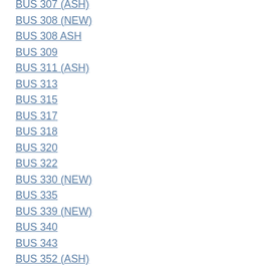BUS 307 (ASH)
BUS 308 (NEW)
BUS 308 ASH
BUS 309
BUS 311 (ASH)
BUS 313
BUS 315
BUS 317
BUS 318
BUS 320
BUS 322
BUS 330 (NEW)
BUS 335
BUS 339 (NEW)
BUS 340
BUS 343
BUS 352 (ASH)
BUS 363
BUS 365